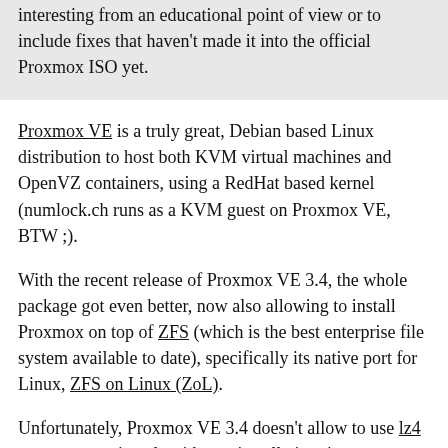interesting from an educational point of view or to include fixes that haven't made it into the official Proxmox ISO yet.
Proxmox VE is a truly great, Debian based Linux distribution to host both KVM virtual machines and OpenVZ containers, using a RedHat based kernel (numlock.ch runs as a KVM guest on Proxmox VE, BTW ;).
With the recent release of Proxmox VE 3.4, the whole package got even better, now also allowing to install Proxmox on top of ZFS (which is the best enterprise file system available to date), specifically its native port for Linux, ZFS on Linux (ZoL).
Unfortunately, Proxmox VE 3.4 doesn't allow to use lz4 as a compression algorithm at installation time yet: Using lz4 would be strongly recommended however instead of